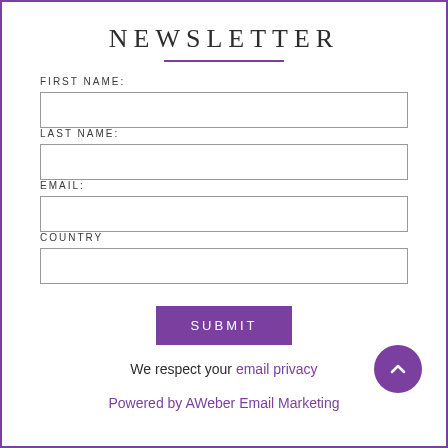NEWSLETTER
FIRST NAME:
LAST NAME:
EMAIL:
COUNTRY
SUBMIT
We respect your email privacy
Powered by AWeber Email Marketing